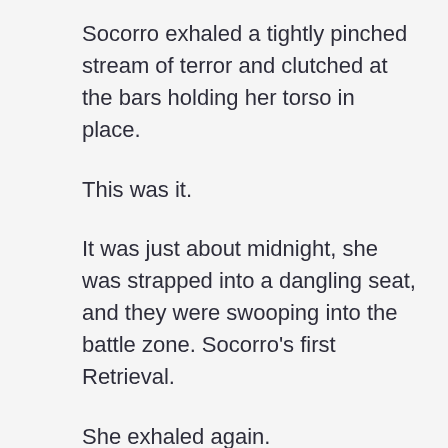Socorro exhaled a tightly pinched stream of terror and clutched at the bars holding her torso in place.
This was it.
It was just about midnight, she was strapped into a dangling seat, and they were swooping into the battle zone. Socorro’s first Retrieval.
She exhaled again.
Leandro… Leandro… Leandro…